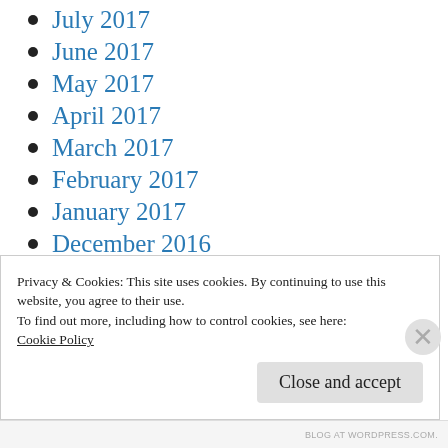July 2017
June 2017
May 2017
April 2017
March 2017
February 2017
January 2017
December 2016
November 2016
October 2016
September 2016
Privacy & Cookies: This site uses cookies. By continuing to use this website, you agree to their use.
To find out more, including how to control cookies, see here:
Cookie Policy
BLOG AT WORDPRESS.COM.